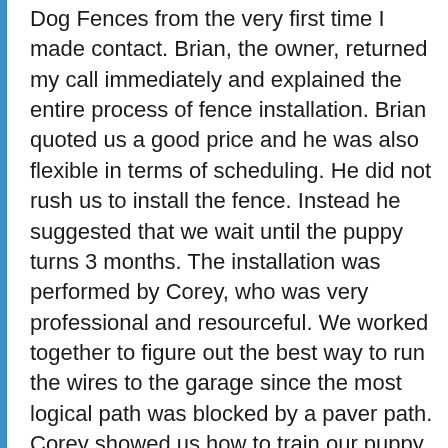Dog Fences from the very first time I made contact. Brian, the owner, returned my call immediately and explained the entire process of fence installation. Brian quoted us a good price and he was also flexible in terms of scheduling. He did not rush us to install the fence. Instead he suggested that we wait until the puppy turns 3 months. The installation was performed by Corey, who was very professional and resourceful. We worked together to figure out the best way to run the wires to the garage since the most logical path was blocked by a paver path. Corey showed us how to train our puppy to stay within the fence. In addition Brian immediately called me back to provide additional guidance when we reached out to